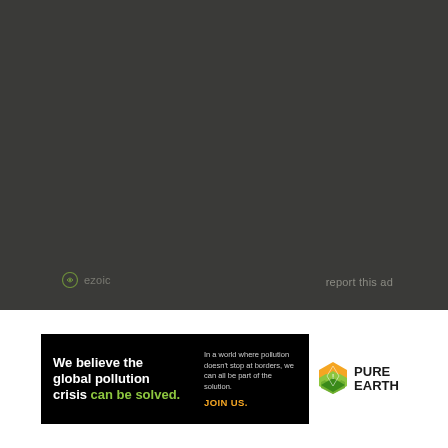[Figure (other): Dark gray advertisement placeholder area with ezoic branding label at bottom left and 'report this ad' link at bottom right]
[Figure (other): Pure Earth banner advertisement: black background with bold white text 'We believe the global pollution crisis can be solved.' in green, tagline about pollution not stopping at borders, 'JOIN US.' in orange, and Pure Earth logo with diamond layered icon in yellow/green on right]
report this ad